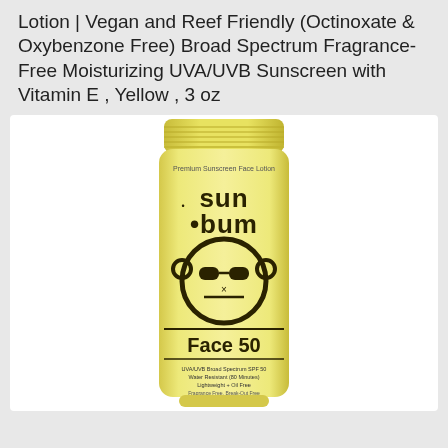Lotion | Vegan and Reef Friendly (Octinoxate & Oxybenzone Free) Broad Spectrum Fragrance-Free Moisturizing UVA/UVB Sunscreen with Vitamin E , Yellow , 3 oz
[Figure (photo): Yellow Sun Bum Face 50 sunscreen tube product photo on white background. Tube shows 'Premium Sunscreen Face Lotion', 'sun bum' logo with monkey mascot wearing sunglasses, 'Face 50', 'UVA/UVB Broad Spectrum SPF 50', 'Water Resistant (80 Minutes)', 'Lightweight + Oil Free', 'Fragrance Free, Break-Out Free', 'Dermatologist Tested', 'Gluten Free', 'Vegan', '3 FL OZ / 88 mL']